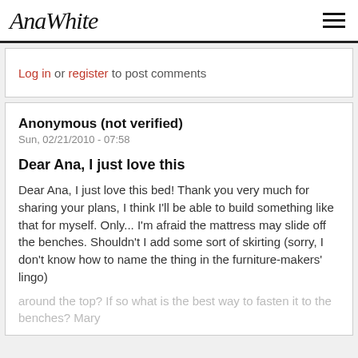AnaWhite
Log in or register to post comments
Anonymous (not verified)
Sun, 02/21/2010 - 07:58
Dear Ana, I just love this
Dear Ana, I just love this bed! Thank you very much for sharing your plans, I think I'll be able to build something like that for myself. Only... I'm afraid the mattress may slide off the benches. Shouldn't I add some sort of skirting (sorry, I don't know how to name the thing in the furniture-makers' lingo) around the top? If so what is the best way to fasten it to the benches? Mary